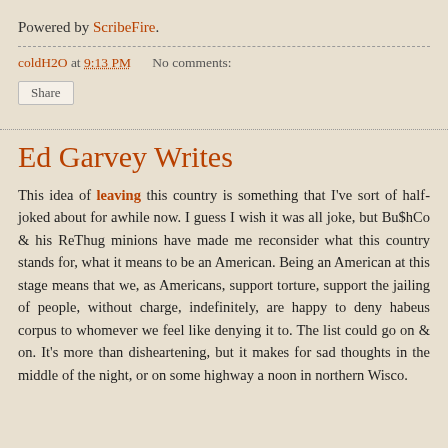Powered by ScribeFire.
coldH2O at 9:13 PM    No comments:
Share
Ed Garvey Writes
This idea of leaving this country is something that I've sort of half-joked about for awhile now. I guess I wish it was all joke, but Bu$hCo & his ReThug minions have made me reconsider what this country stands for, what it means to be an American. Being an American at this stage means that we, as Americans, support torture, support the jailing of people, without charge, indefinitely, are happy to deny habeus corpus to whomever we feel like denying it to. The list could go on & on. It's more than disheartening, but it makes for sad thoughts in the middle of the night, or on some highway a noon in northern Wisco.